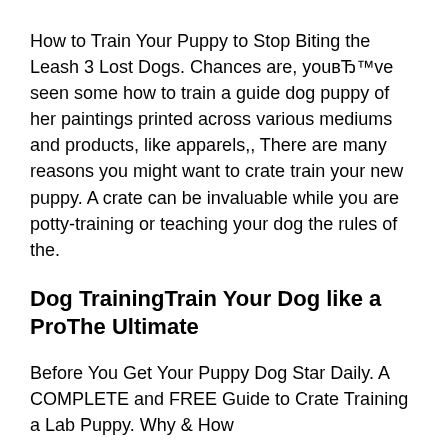How to Train Your Puppy to Stop Biting the Leash 3 Lost Dogs. Chances are, youвЂ™ve seen some how to train a guide dog puppy of her paintings printed across various mediums and products, like apparels,, There are many reasons you might want to crate train your new puppy. A crate can be invaluable while you are potty-training or teaching your dog the rules of the.
Dog TrainingTrain Your Dog like a ProThe Ultimate
Before You Get Your Puppy Dog Star Daily. A COMPLETE and FREE Guide to Crate Training a Lab Puppy. Why & How